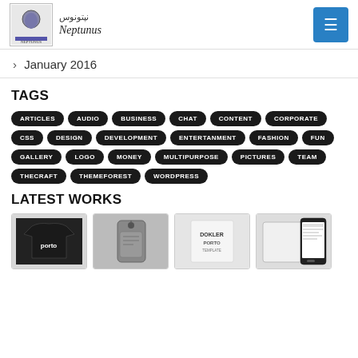Neptunus logo and navigation header
> January 2016
TAGS
ARTICLES
AUDIO
BUSINESS
CHAT
CONTENT
CORPORATE
CSS
DESIGN
DEVELOPMENT
ENTERTANMENT
FASHION
FUN
GALLERY
LOGO
MONEY
MULTIPURPOSE
PICTURES
TEAM
THECRAFT
THEMEFOREST
WORDPRESS
LATEST WORKS
[Figure (photo): Thumbnail images of latest works: t-shirt with 'porto', a product with tag, Dokler Porto product, and a mobile device mockup]